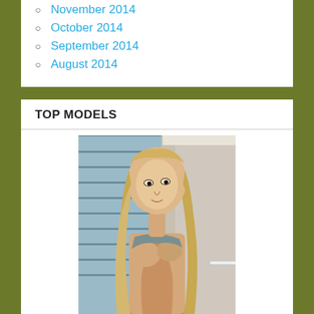November 2014
October 2014
September 2014
August 2014
TOP MODELS
[Figure (photo): A blonde female model photographed indoors near a window, partially clothed, facing the camera]